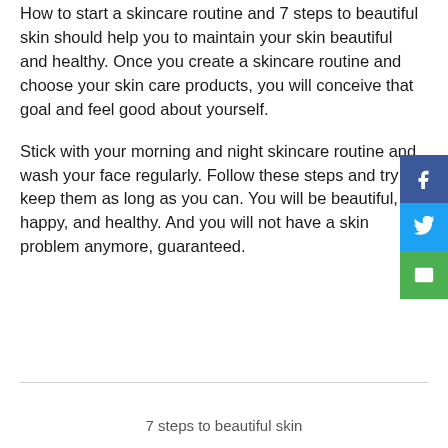How to start a skincare routine and 7 steps to beautiful skin should help you to maintain your skin beautiful and healthy. Once you create a skincare routine and choose your skin care products, you will conceive that goal and feel good about yourself.
Stick with your morning and night skincare routine and wash your face regularly. Follow these steps and try to keep them as long as you can. You will be beautiful, happy, and healthy. And you will not have a skin problem anymore, guaranteed.
7 steps to beautiful skin